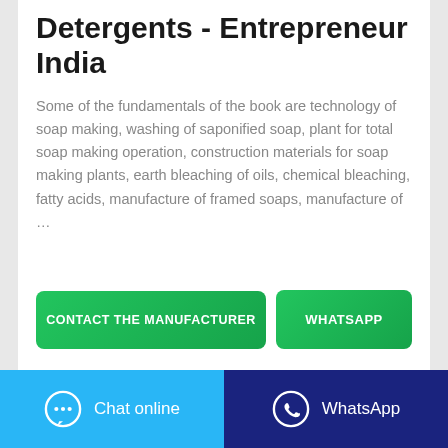Detergents - Entrepreneur India
Some of the fundamentals of the book are technology of soap making, washing of saponified soap, plant for total soap making operation, construction materials for soap making plants, earth bleaching of oils, chemical bleaching, fatty acids, manufacture of framed soaps, manufacture of …
CONTACT THE MANUFACTURER
WHATSAPP
Chat online
WhatsApp